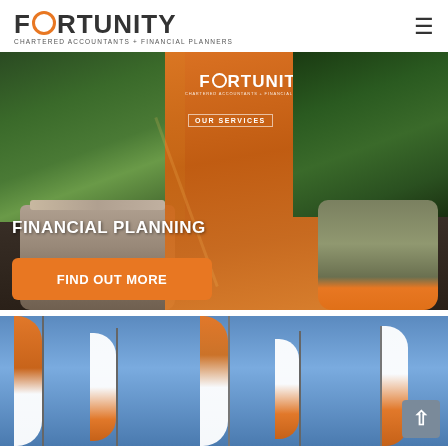FORTUNITY CHARTERED ACCOUNTANTS + FINANCIAL PLANNERS
[Figure (photo): Hero image showing two succulent plants in grey and olive pots on a wooden surface, with an orange branded panel in the center displaying the Fortunity logo and 'OUR SERVICES'. Text overlay reads 'FINANCIAL PLANNING' with an orange 'FIND OUT MORE' button.]
[Figure (photo): Photo of multiple Fortunity branded feather/teardrop banner flags in orange and white against a blue sky background, with a back-to-top arrow button in the lower right corner.]